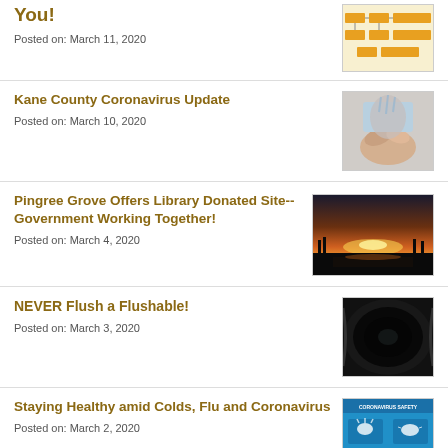You!
Posted on: March 11, 2020
[Figure (other): Flowchart thumbnail with yellow/orange boxes]
Kane County Coronavirus Update
Posted on: March 10, 2020
[Figure (photo): Hands washing under running water]
Pingree Grove Offers Library Donated Site-- Government Working Together!
Posted on: March 4, 2020
[Figure (photo): Sunset landscape panoramic photo]
NEVER Flush a Flushable!
Posted on: March 3, 2020
[Figure (photo): Dark pipe interior photo]
Staying Healthy amid Colds, Flu and Coronavirus
Posted on: March 2, 2020
[Figure (infographic): Coronavirus Safety infographic with blue background and icons]